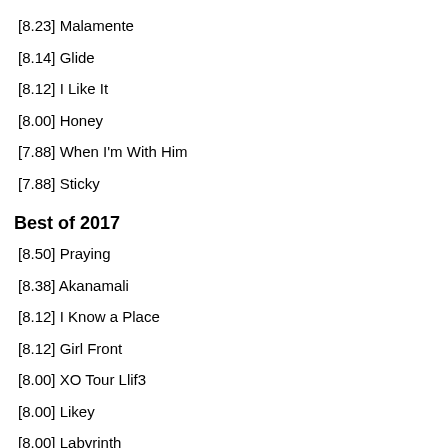[8.23] Malamente
[8.14] Glide
[8.12] I Like It
[8.00] Honey
[7.88] When I'm With Him
[7.88] Sticky
Best of 2017
[8.50] Praying
[8.38] Akanamali
[8.12] I Know a Place
[8.12] Girl Front
[8.00] XO Tour Llif3
[8.00] Likey
[8.00] Labyrinth